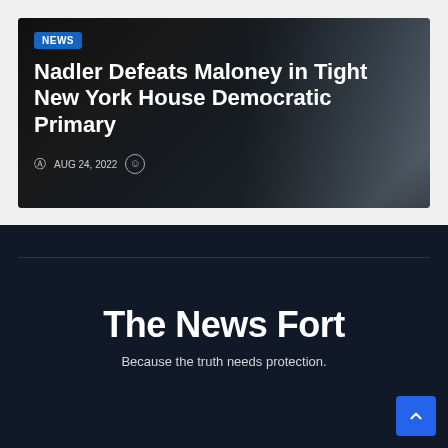[Figure (photo): News article card with a photo of a man with glasses and a shoulder strap bag, overlaid with a NEWS badge and headline text]
Nadler Defeats Maloney in Tight New York House Democratic Primary
AUG 24, 2022
The News Fort
Because the truth needs protection.